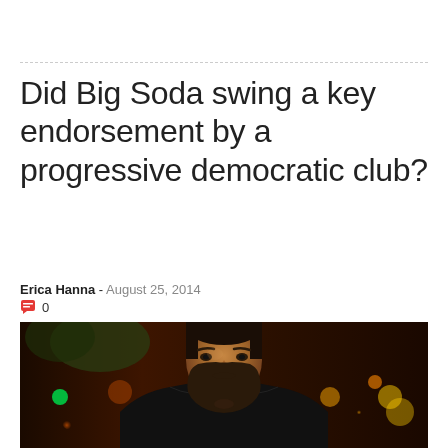Did Big Soda swing a key endorsement by a progressive democratic club?
Erica Hanna - August 25, 2014  0
[Figure (photo): Portrait photo of a bearded man with short dark hair wearing a leather jacket and red shirt, photographed at night with bokeh city lights in the background.]